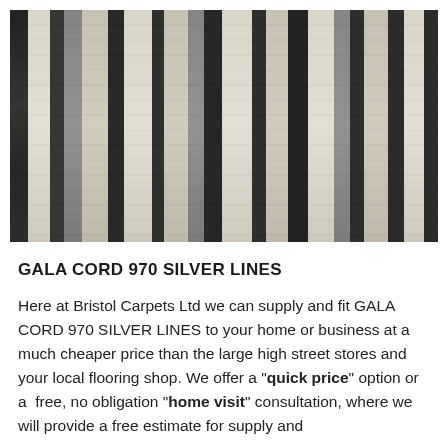[Figure (photo): Close-up photograph of GALA CORD 970 SILVER LINES carpet showing vertical stripes of black, dark grey, and light beige/silver twisted cord fibres]
GALA CORD 970 SILVER LINES
Here at Bristol Carpets Ltd we can supply and fit GALA CORD 970 SILVER LINES to your home or business at a much cheaper price than the large high street stores and your local flooring shop. We offer a "quick price" option or a  free, no obligation "home visit" consultation, where we will provide a free estimate for supply and installation.